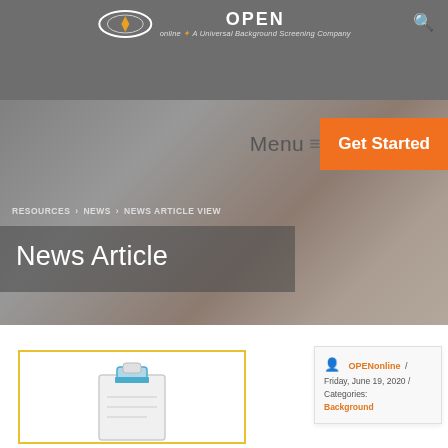[Figure (logo): OPEN online logo with oval graphic and tagline 'A Universal Background Screening Company']
Menu ≡
Get Started
RESOURCES › NEWS › NEWS ARTICLE VIEW
News Article
[Figure (illustration): Clipboard illustration with teal color at bottom of white box with yellow border]
OPENonline / Friday, June 19, 2020 / Categories: Background